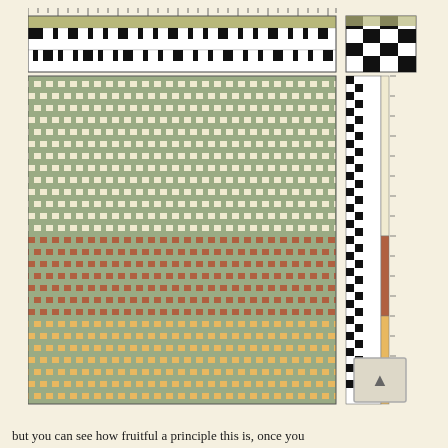[Figure (other): Weaving draft diagram showing threading at top (black and white grid pattern), a large drawdown/fabric simulation in the center showing a basket-weave pattern in cream/sage green with horizontal bands of terracotta/brown in the middle and golden yellow at the bottom, plus a tie-up grid and treadle sequence on the right side. A ruler/tick marks appear along the top.]
but you can see how fruitful a principle this is, once you